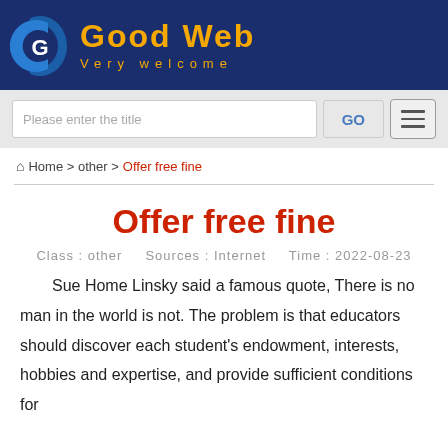[Figure (logo): Good Web website logo with blue background, stylized G icon in blue and white, orange text 'Good Web' and subtitle 'Very welcome']
Please enter the title  GO  ☰
⌂ Home > other > Offer free fine
Offer free fine
Class : other    Sources : Internet    Time : 2022-08-23
Sue Home Linsky said a famous quote, There is no man in the world is not. The problem is that educators should discover each student's endowment, interests, hobbies and expertise, and provide sufficient conditions for